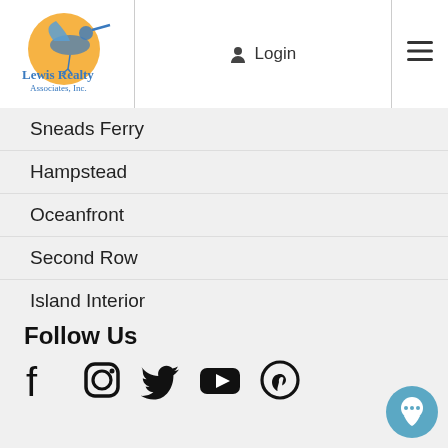[Figure (logo): Lewis Realty Associates, Inc. logo with heron bird and orange sun]
Sneads Ferry
Hampstead
Oceanfront
Second Row
Island Interior
Waterfront
Condos
At Home With Topsail Blog
Follow Us
[Figure (infographic): Social media icons: Facebook, Instagram, Twitter, YouTube, Pinterest]